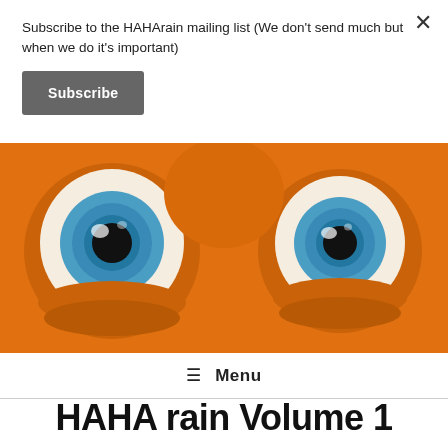Subscribe to the HAHArain mailing list (We don't send much but when we do it's important)
Subscribe
[Figure (illustration): Close-up of an orange cartoon/3D character face with two large blue eyes with white sclera, bulging out of orange skin, viewed from the front. The eyes have blue irises with dark pupils and white highlights.]
☰ Menu
HAHA rain Volume 1